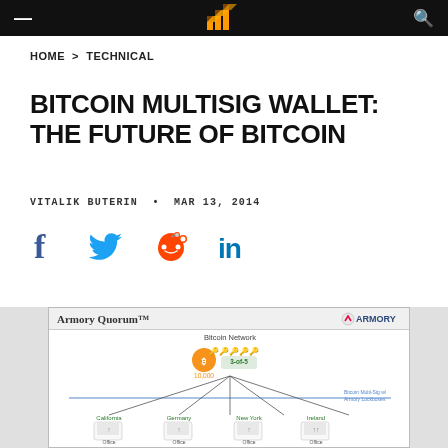≡  [LOGO]  🔍
HOME > TECHNICAL
BITCOIN MULTISIG WALLET: THE FUTURE OF BITCOIN
VITALIK BUTERIN • MAR 13, 2014
[Figure (infographic): Social sharing icons: Facebook, Twitter, Reddit, LinkedIn]
[Figure (infographic): Armory Quorum diagram showing Bitcoin Network with 10,000 BTC in a 3-of-5 multisig arrangement, with connections to California, Germany, New York, and Ireland office nodes with laptops.]